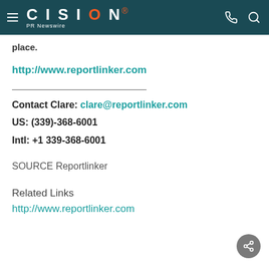CISION PR Newswire
place.
http://www.reportlinker.com
Contact Clare: clare@reportlinker.com
US: (339)-368-6001
Intl: +1 339-368-6001
SOURCE Reportlinker
Related Links
http://www.reportlinker.com